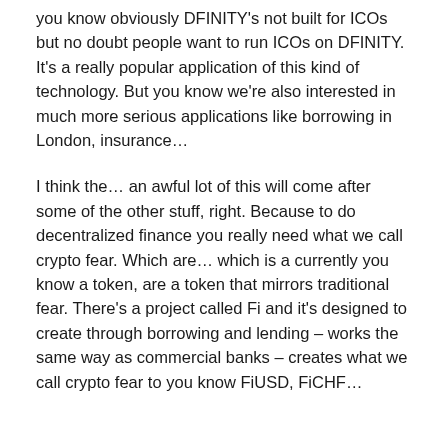you know obviously DFINITY's not built for ICOs but no doubt people want to run ICOs on DFINITY. It's a really popular application of this kind of technology. But you know we're also interested in much more serious applications like borrowing in London, insurance…
I think the… an awful lot of this will come after some of the other stuff, right. Because to do decentralized finance you really need what we call crypto fear. Which are… which is a currently you know a token, are a token that mirrors traditional fear. There's a project called Fi and it's designed to create through borrowing and lending – works the same way as commercial banks – creates what we call crypto fear to you know FiUSD, FiCHF…